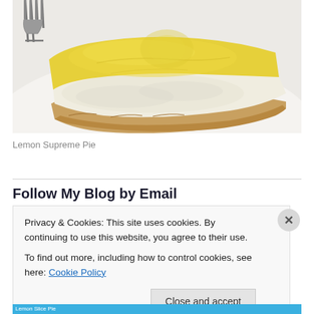[Figure (photo): A slice of Lemon Supreme Pie on a white plate, showing yellow lemon curd topping over a creamy filling with a flaky pastry crust. A fork is visible in the background.]
Lemon Supreme Pie
Follow My Blog by Email
Privacy & Cookies: This site uses cookies. By continuing to use this website, you agree to their use.
To find out more, including how to control cookies, see here: Cookie Policy
Close and accept